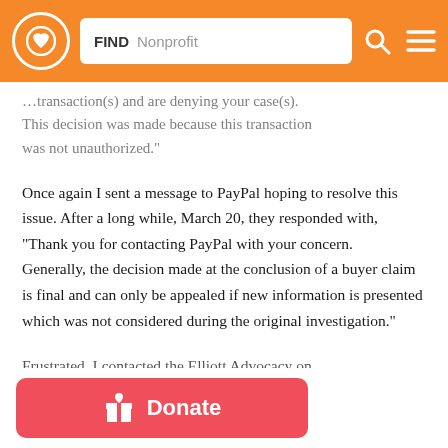FIND Nonprofit [search bar with logo and icons]
…transaction(s) and are denying your case(s). This decision was made because this transaction was not unauthorized."
Once again I sent a message to PayPal hoping to resolve this issue. After a long while, March 20, they responded with, "Thank you for contacting PayPal with your concern.
Generally, the decision made at the conclusion of a buyer claim is final and can only be appealed if new information is presented which was not considered during the original investigation."
Frustrated, I contacted the Elliott Advocacy on
Donate